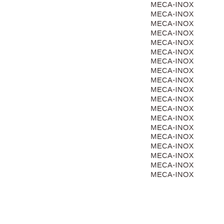MECA-INOX
MECA-INOX
MECA-INOX
MECA-INOX
MECA-INOX
MECA-INOX
MECA-INOX
MECA-INOX
MECA-INOX
MECA-INOX
MECA-INOX
MECA-INOX
MECA-INOX
MECA-INOX
MECA-INOX
MECA-INOX
MECA-INOX
MECA-INOX
MECA-INOX